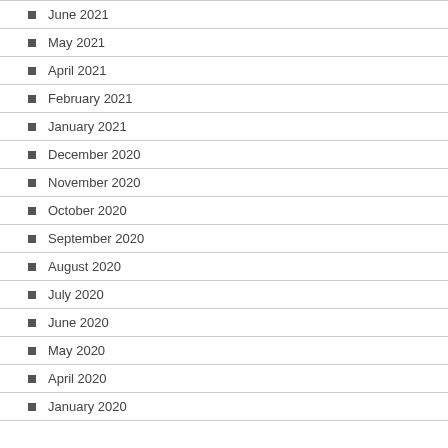June 2021
May 2021
April 2021
February 2021
January 2021
December 2020
November 2020
October 2020
September 2020
August 2020
July 2020
June 2020
May 2020
April 2020
January 2020